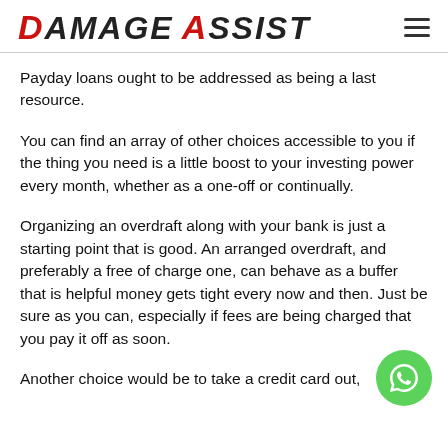DAMAGE ASSIST
Payday loans ought to be addressed as being a last resource.
You can find an array of other choices accessible to you if the thing you need is a little boost to your investing power every month, whether as a one-off or continually.
Organizing an overdraft along with your bank is just a starting point that is good. An arranged overdraft, and preferably a free of charge one, can behave as a buffer that is helpful money gets tight every now and then. Just be sure as you can, especially if fees are being charged that you pay it off as soon.
Another choice would be to take a credit card out,